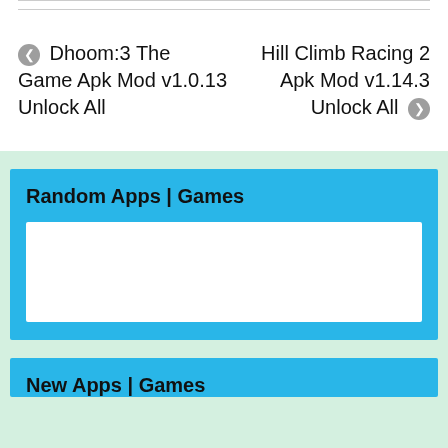◀ Dhoom:3 The Game Apk Mod v1.0.13 Unlock All
Hill Climb Racing 2 Apk Mod v1.14.3 Unlock All ▶
Random Apps | Games
[Figure (other): White content placeholder box inside blue Random Apps | Games section]
New Apps | Games